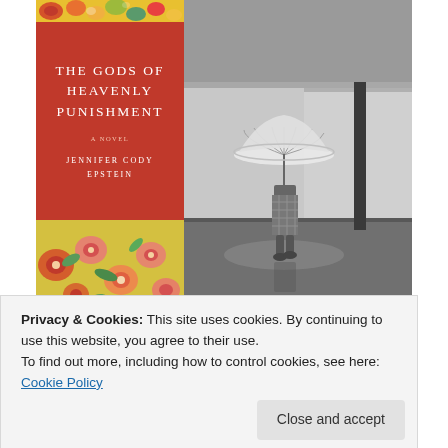[Figure (illustration): Book cover of 'The Gods of Heavenly Punishment: A Novel' by Jennifer Cody Epstein. Left half: red background with white text title and author name, top and bottom floral patterns. Right half: black and white photograph of a person holding a Japanese parasol umbrella, standing by a tree near a reflective road.]
Privacy & Cookies: This site uses cookies. By continuing to use this website, you agree to their use.
To find out more, including how to control cookies, see here: Cookie Policy
Close and accept
Japan on different fronts, including the civilian story of